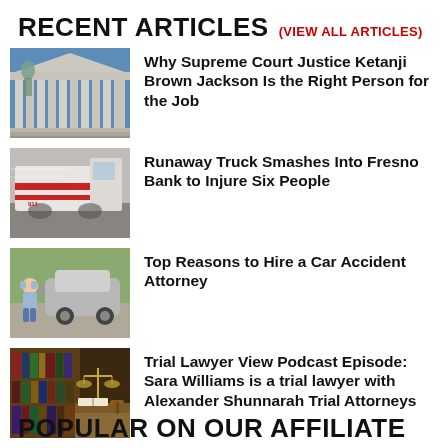RECENT ARTICLES (VIEW ALL ARTICLES)
[Figure (photo): Photo of the U.S. Supreme Court building facade with columns and a green statue]
Why Supreme Court Justice Ketanji Brown Jackson Is the Right Person for the Job
[Figure (photo): Photo of a blurred white truck with red stripes in motion]
Runaway Truck Smashes Into Fresno Bank to Injure Six People
[Figure (photo): Photo of a man crouching beside a damaged car at an accident scene]
Top Reasons to Hire a Car Accident Attorney
[Figure (photo): Photo of a law library with books and a scale of justice on a desk]
Trial Lawyer View Podcast Episode: Sara Williams is a trial lawyer with Alexander Shunnarah Trial Attorneys
POPULAR ON OUR AFFILIATE